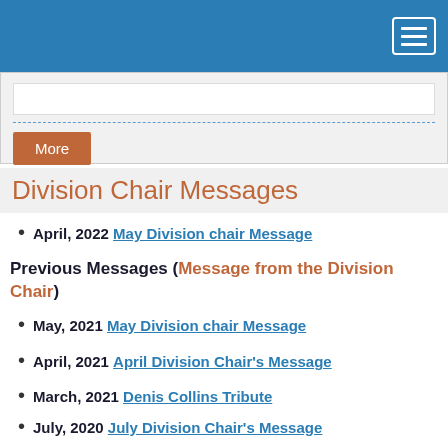Navigation header bar with hamburger menu
Division Chair Messages
April, 2022 May Division chair Message
Previous Messages (Message from the Division Chair)
May, 2021 May Division chair Message
April, 2021 April Division Chair's Message
March, 2021 Denis Collins Tribute
November, 2020 November Division Chair's Message
July, 2020 July Division Chair's Message